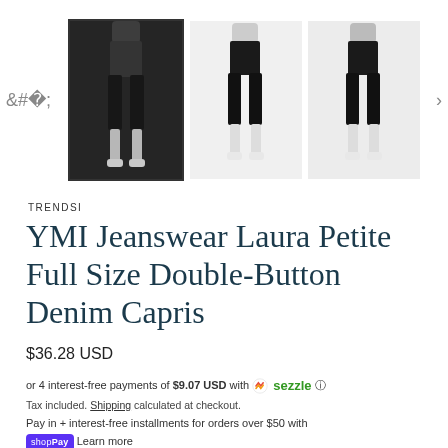[Figure (photo): Three thumbnail images of a person wearing black denim capri pants, showing front/side/back views. First image is selected with a border.]
TRENDSI
YMI Jeanswear Laura Petite Full Size Double-Button Denim Capris
$36.28 USD
or 4 interest-free payments of $9.07 USD with Sezzle ⓘ
Tax included. Shipping calculated at checkout.
Pay in + interest-free installments for orders over $50 with
shopPay  Learn more